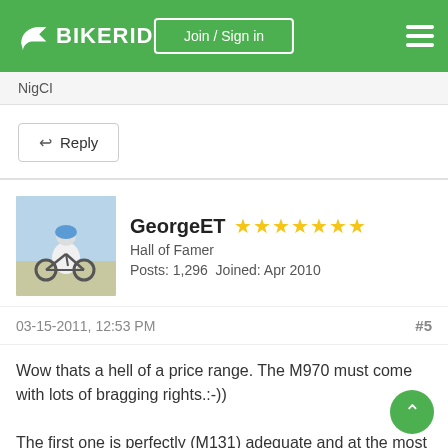BIKERIDE | Join / Sign in
NigCI
↩ Reply
[Figure (photo): Avatar photo of user GeorgeET on a bicycle]
GeorgeET ★★★★★★★ Hall of Famer Posts: 1,296  Joined: Apr 2010
03-15-2011, 12:53 PM  #5
Wow thats a hell of a price range. The M970 must come with lots of bragging rights.:-))

The first one is perfectly (M131) adequate and at the most do anything the average individual...